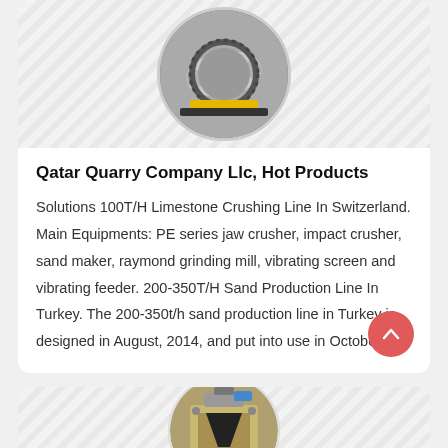[Figure (photo): Circular thumbnail photo of a ball mill industrial machine with gear, on hatched grey background]
Qatar Quarry Company Llc, Hot Products
Solutions 100T/H Limestone Crushing Line In Switzerland. Main Equipments: PE series jaw crusher, impact crusher, sand maker, raymond grinding mill, vibrating screen and vibrating feeder. 200-350T/H Sand Production Line In Turkey. The 200-350t/h sand production line in Turkey is designed in August, 2014, and put into use in October
[Figure (photo): Circular thumbnail photo of a jaw crusher machine, on hatched grey background, partially visible at bottom of page]